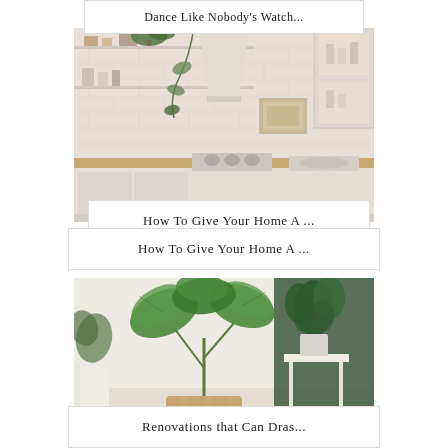Dance Like Nobody's Watch...
[Figure (photo): Bright white kitchen with brick backsplash, open shelves with plants and decor, wood countertops, white cabinets, and a range hood]
How To Give Your Home A ...
[Figure (photo): Indoor plants in a bright white room — a large tropical leaf plant in a wicker basket and a green leafy plant on a white side table]
Renovations that Can Dras...